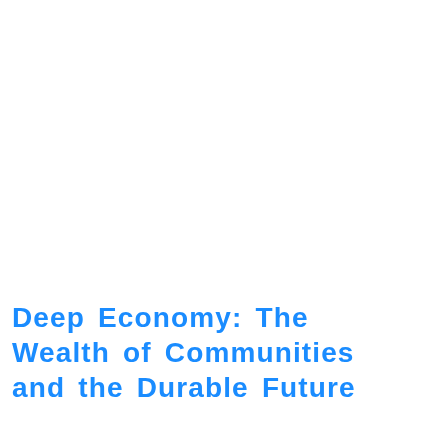Deep Economy: The Wealth of Communities and the Durable Future